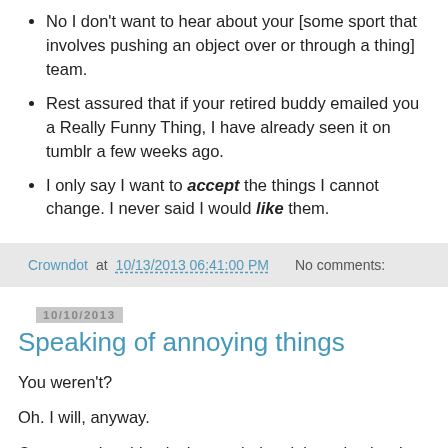No I don't want to hear about your [some sport that involves pushing an object over or through a thing] team.
Rest assured that if your retired buddy emailed you a Really Funny Thing, I have already seen it on tumblr a few weeks ago.
I only say I want to accept the things I cannot change.  I never said I would like  them.
Crowndot at 10/13/2013 06:41:00 PM    No comments:
10/10/2013
Speaking of annoying things
You weren't?
Oh.  I will, anyway.
One annoying thing is that my industrial vendors' web sites